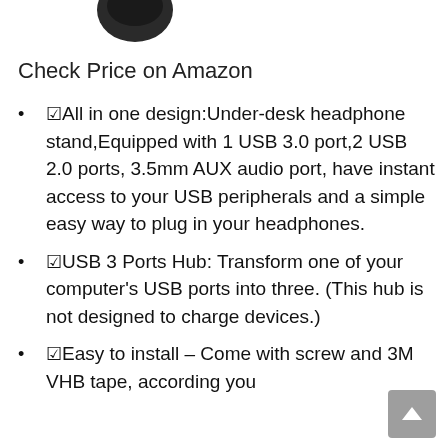[Figure (photo): Partial view of a black headphone stand product image cropped at top]
Check Price on Amazon
☑All in one design:Under-desk headphone stand,Equipped with 1 USB 3.0 port,2 USB 2.0 ports, 3.5mm AUX audio port, have instant access to your USB peripherals and a simple easy way to plug in your headphones.
☑USB 3 Ports Hub: Transform one of your computer's USB ports into three. (This hub is not designed to charge devices.)
☑Easy to install – Come with screw and 3M VHB tape, according you